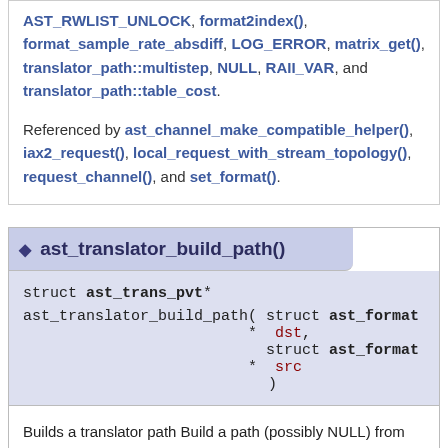AST_RWLIST_UNLOCK, format2index(), format_sample_rate_absdiff, LOG_ERROR, matrix_get(), translator_path::multistep, NULL, RAII_VAR, and translator_path::table_cost.

Referenced by ast_channel_make_compatible_helper(), iax2_request(), local_request_with_stream_topology(), request_channel(), and set_format().
◆ ast_translator_build_path()
struct ast_trans_pvt* ast_translator_build_path ( struct ast_format * dst, struct ast_format * src )
Builds a translator path Build a path (possibly NULL) from source to dest.